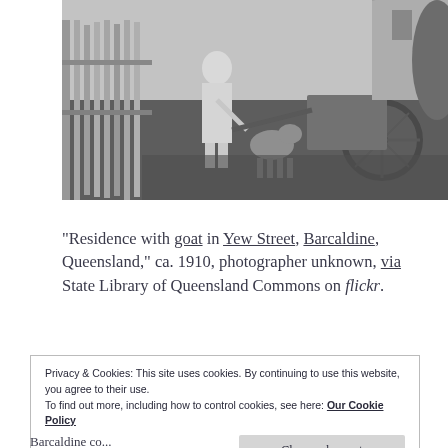[Figure (photo): Black and white photograph showing a person standing near a wooden picket fence with a goat and cart, in a residential yard setting, circa 1910.]
“Residence with goat in Yew Street, Barcaldine, Queensland,” ca. 1910, photographer unknown, via State Library of Queensland Commons on flickr.
Privacy & Cookies: This site uses cookies. By continuing to use this website, you agree to their use.
To find out more, including how to control cookies, see here: Our Cookie Policy
Close and accept
Barcaldine, co...